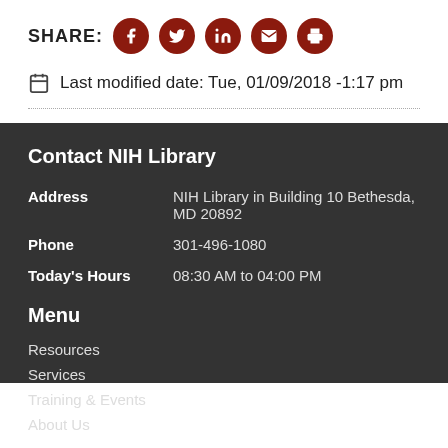SHARE:
Last modified date: Tue, 01/09/2018 -1:17 pm
Contact NIH Library
Address: NIH Library in Building 10 Bethesda, MD 20892
Phone: 301-496-1080
Today's Hours: 08:30 AM to 04:00 PM
Menu
Resources
Services
Training & Events
About Us